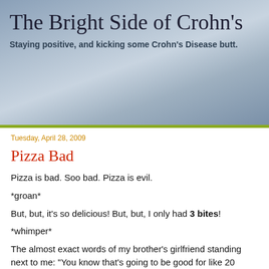The Bright Side of Crohn's
Staying positive, and kicking some Crohn's Disease butt.
Tuesday, April 28, 2009
Pizza Bad
Pizza is bad. Soo bad. Pizza is evil.
*groan*
But, but, it's so delicious! But, but, I only had 3 bites!
*whimper*
The almost exact words of my brother's girlfriend standing next to me: "You know that's going to be good for like 20 minutes tops, then you'll be in pain for what, 2 days?". She sounded like my conscience.